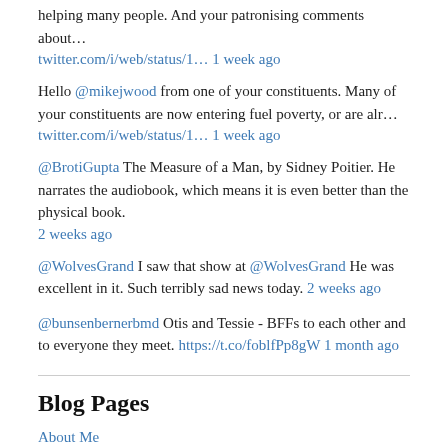helping many people. And your patronising comments about…
twitter.com/i/web/status/1… 1 week ago
Hello @mikejwood from one of your constituents. Many of your constituents are now entering fuel poverty, or are alr…
twitter.com/i/web/status/1… 1 week ago
@BrotiGupta The Measure of a Man, by Sidney Poitier. He narrates the audiobook, which means it is even better than the physical book.
2 weeks ago
@WolvesGrand I saw that show at @WolvesGrand He was excellent in it. Such terribly sad news today. 2 weeks ago
@bunsenbernerbmd Otis and Tessie - BFFs to each other and to everyone they meet. https://t.co/foblfPp8gW 1 month ago
Blog Pages
About Me